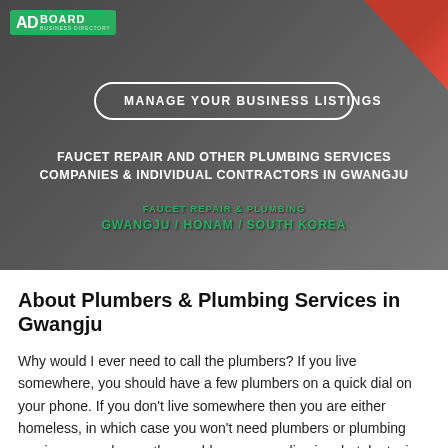[Figure (illustration): Hero banner with dark grey/maroon background showing ADBOARD logo, a 'Manage Your Business Listings' button, and text about faucet repair and plumbing services in Gwangju]
About Plumbers & Plumbing Services in Gwangju
Why would I ever need to call the plumbers? If you live somewhere, you should have a few plumbers on a quick dial on your phone. If you don't live somewhere then you are either homeless, in which case you won't need plumbers or plumbing services – you have other problems, or you live in a hotel, etc. in which case you might need plumbers on occasion, but that's someone else's problem. Though you would only ever ask the